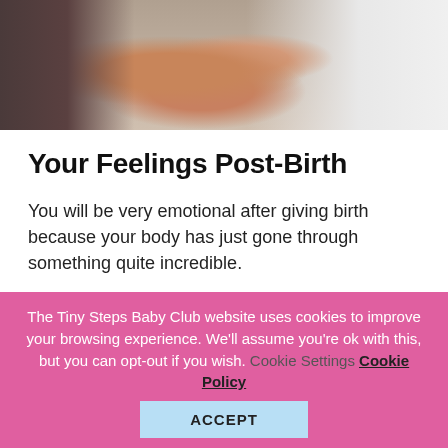[Figure (photo): Close-up photo of a baby or newborn with an adult hand/fingers visible, person wearing dark clothing on left, white fabric on right, warm skin tones]
Your Feelings Post-Birth
You will be very emotional after giving birth because your body has just gone through something quite incredible.
As amazing as the human body is, you will need to allow your body space and time to recover from
The Tiny Steps Baby Club website uses cookies to improve your browsing experience. We'll assume you're ok with this, but you can opt-out if you wish.   Cookie Settings   Cookie Policy
ACCEPT